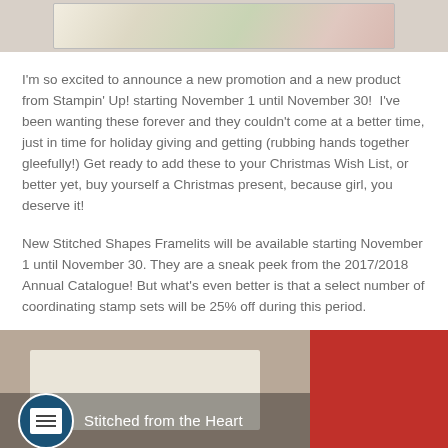[Figure (photo): Partial image at top showing holiday-themed crafting products from Stampin Up]
I'm so excited to announce a new promotion and a new product from Stampin' Up! starting November 1 until November 30!  I've been wanting these forever and they couldn't come at a better time, just in time for holiday giving and getting (rubbing hands together gleefully!) Get ready to add these to your Christmas Wish List, or better yet, buy yourself a Christmas present, because girl, you deserve it!
New Stitched Shapes Framelits will be available starting November 1 until November 30. They are a sneak peek from the 2017/2018 Annual Catalogue! But what's even better is that a select number of coordinating stamp sets will be 25% off during this period.
[Figure (screenshot): Video thumbnail showing Stitched from the Heart with Stampin Up logo circle on dark overlay bar at bottom, paper crafts visible on table, red background on right side]